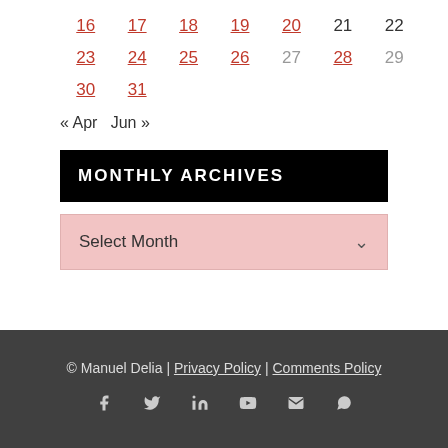| 16 | 17 | 18 | 19 | 20 | 21 | 22 |
| 23 | 24 | 25 | 26 | 27 | 28 | 29 |
| 30 | 31 |  |  |  |  |  |
« Apr   Jun »
MONTHLY ARCHIVES
Select Month
© Manuel Delia | Privacy Policy | Comments Policy